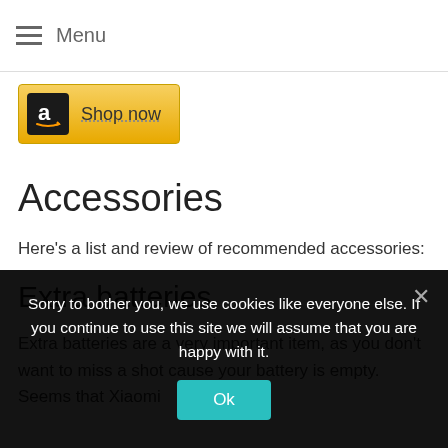Menu
[Figure (logo): Amazon affiliate 'Shop now' banner button with Amazon logo on gold/yellow background]
Accessories
Here's a list and review of recommended accessories:
Extra batteries
Extra batteries are a very important item, as you don't want to miss a shot cause your battery is empty. Seems that Xiaomi
Sorry to bother you, we use cookies like everyone else. If you continue to use this site we will assume that you are happy with it.